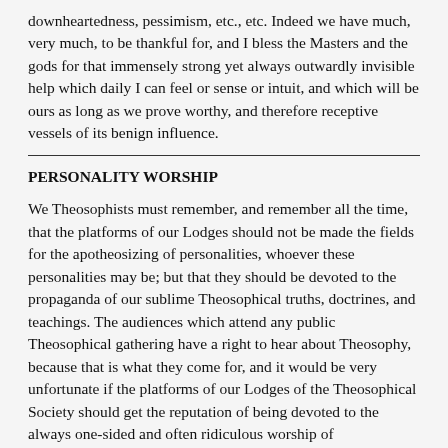downheartedness, pessimism, etc., etc. Indeed we have much, very much, to be thankful for, and I bless the Masters and the gods for that immensely strong yet always outwardly invisible help which daily I can feel or sense or intuit, and which will be ours as long as we prove worthy, and therefore receptive vessels of its benign influence.
PERSONALITY WORSHIP
We Theosophists must remember, and remember all the time, that the platforms of our Lodges should not be made the fields for the apotheosizing of personalities, whoever these personalities may be; but that they should be devoted to the propaganda of our sublime Theosophical truths, doctrines, and teachings. The audiences which attend any public Theosophical gathering have a right to hear about Theosophy, because that is what they come for, and it would be very unfortunate if the platforms of our Lodges of the Theosophical Society should get the reputation of being devoted to the always one-sided and often ridiculous worship of Theosophical personalities. Such a thing in itself really is repugnant; but unfortunately some Theosophists do not understand this, and it is our duty, however unpleasant it may temporarily be, to bear with their failings, yet kindly but very firmly to deal with such situations should they ever arise.